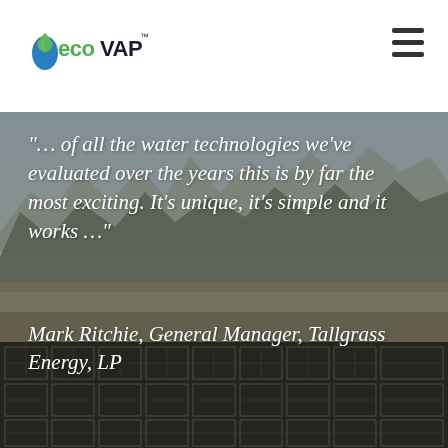[Figure (logo): EcoVAP logo with green leaf drop icon, 'eco' in green lowercase and 'VAP' in dark/blue uppercase with TM mark]
[Figure (photo): Background landscape photo showing arid mountains and industrial evaporation pond structures in a desert setting, with dark modular grid structures in the foreground]
“… of all the water technologies we’ve evaluated over the years this is by far the most exciting. It’s unique, it’s simple and it works …”
Mark Ritchie, General Manager, Tallgrass Energy, LP